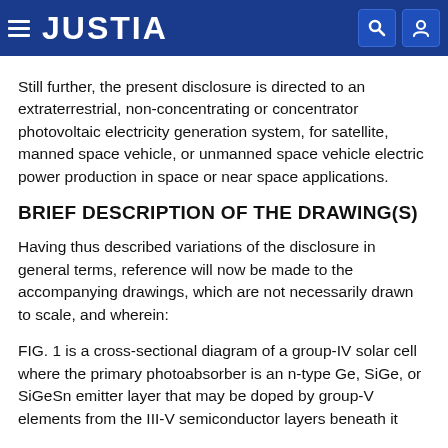JUSTIA
Still further, the present disclosure is directed to an extraterrestrial, non-concentrating or concentrator photovoltaic electricity generation system, for satellite, manned space vehicle, or unmanned space vehicle electric power production in space or near space applications.
BRIEF DESCRIPTION OF THE DRAWING(S)
Having thus described variations of the disclosure in general terms, reference will now be made to the accompanying drawings, which are not necessarily drawn to scale, and wherein:
FIG. 1 is a cross-sectional diagram of a group-IV solar cell where the primary photoabsorber is an n-type Ge, SiGe, or SiGeSn emitter layer that may be doped by group-V elements from the III-V semiconductor layers beneath it